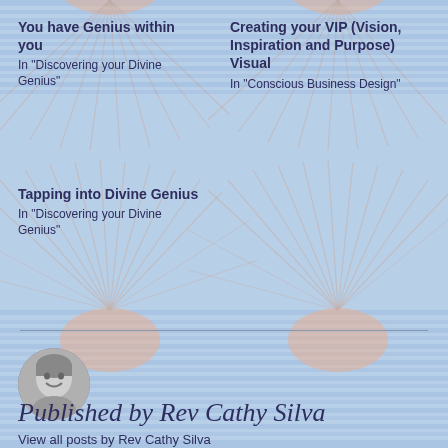You have Genius within you
In "Discovering your Divine Genius"
Creating your VIP (Vision, Inspiration and Purpose) Visual
In "Conscious Business Design"
Tapping into Divine Genius
In "Discovering your Divine Genius"
[Figure (illustration): Decorative sunburst pattern background with soft blue and peach tones]
[Figure (photo): Black and white circular portrait photo of Rev Cathy Silva, a smiling woman]
Published by Rev Cathy Silva
View all posts by Rev Cathy Silva